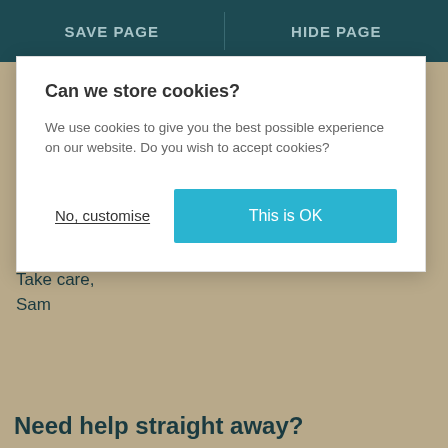SAVE PAGE   HIDE PAGE
Can we store cookies?
We use cookies to give you the best possible experience on our website. Do you wish to accept cookies?
No, customise
This is OK
You could also talk to one of our counsellors who can support you in getting ready to talk to your teacher. A counsellor could help you think about when you might talk to a teacher and how you will approach them.
Take care,
Sam
Need help straight away?